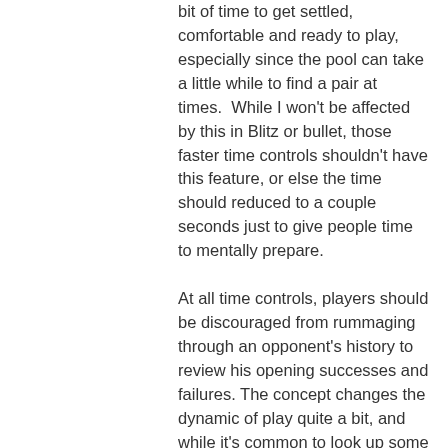bit of time to get settled, comfortable and ready to play, especially since the pool can take a little while to find a pair at times.  While I won't be affected by this in Blitz or bullet, those faster time controls shouldn't have this feature, or else the time should reduced to a couple seconds just to give people time to mentally prepare.
At all time controls, players should be discouraged from rummaging through an opponent's history to review his opening successes and failures. The concept changes the dynamic of play quite a bit, and while it's common to look up some games of a tournament